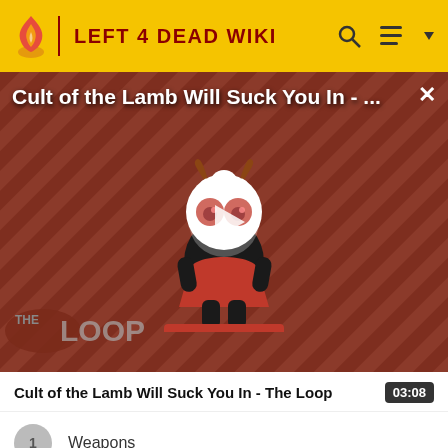LEFT 4 DEAD WIKI
[Figure (screenshot): Video thumbnail for 'Cult of the Lamb Will Suck You In - The Loop' showing a cartoon lamb character on a red striped background with a play button overlay and 'THE LOOP' logo in the bottom left corner]
Cult of the Lamb Will Suck You In - The Loop   03:08
1  Weapons
2  The Infected